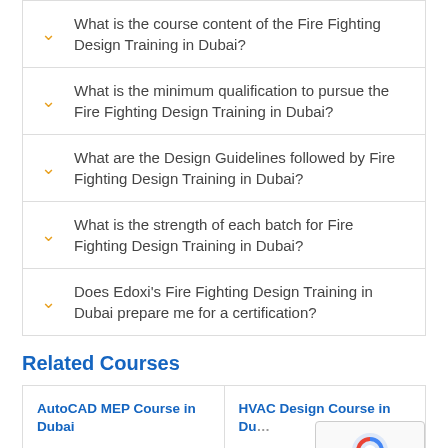What is the course content of the Fire Fighting Design Training in Dubai?
What is the minimum qualification to pursue the Fire Fighting Design Training in Dubai?
What are the Design Guidelines followed by Fire Fighting Design Training in Dubai?
What is the strength of each batch for Fire Fighting Design Training in Dubai?
Does Edoxi's Fire Fighting Design Training in Dubai prepare me for a certification?
Related Courses
AutoCAD MEP Course in Dubai
HVAC Design Course in Dubai